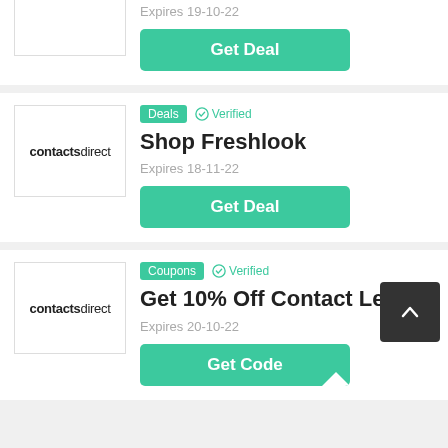[Figure (logo): contactsdirect logo - partial top card, logo box cut off at top]
Expires 19-10-22
Get Deal
[Figure (logo): contactsdirect logo in bordered box]
Deals  Verified
Shop Freshlook
Expires 18-11-22
Get Deal
[Figure (logo): contactsdirect logo in bordered box]
Coupons  Verified
Get 10% Off Contact Lens
Expires 20-10-22
Get Code